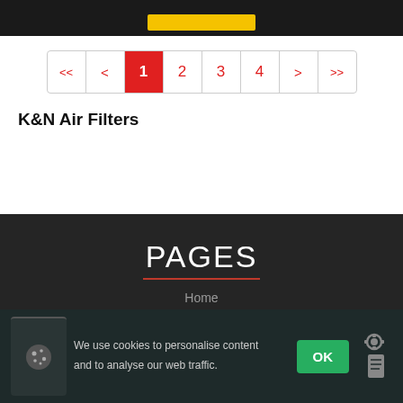[Figure (screenshot): Dark top bar with yellow button]
[Figure (screenshot): Pagination control showing pages 1-4 with navigation arrows, page 1 highlighted in red]
K&N Air Filters
PAGES
Home
We use cookies to personalise content and to analyse our web traffic.
OK